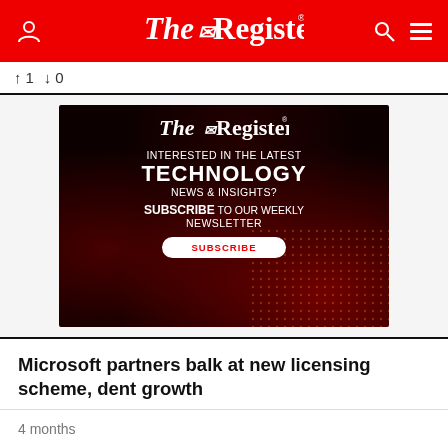The Register
↑1 ↓0
[Figure (infographic): The Register newsletter advertisement: dark red glowing background with The Register logo at top, text reading 'INTERESTED IN THE LATEST TECHNOLOGY NEWS & INSIGHTS? SUBSCRIBE TO OUR WEEKLY NEWSLETTER' and a white SUBSCRIBE button.]
Microsoft partners balk at new licensing scheme, dent growth
4 months